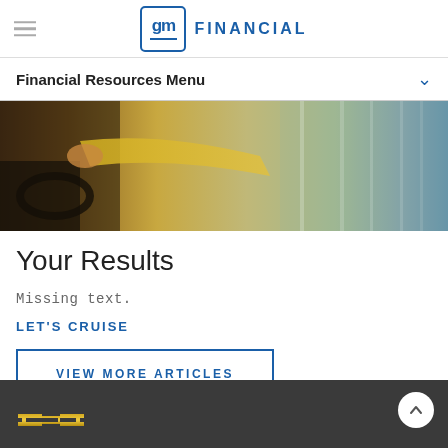GM Financial
Financial Resources Menu
[Figure (photo): Person in yellow jacket reaching toward or driving a vehicle, seen from inside the car looking outward through window reflections.]
Your Results
Missing text.
LET'S CRUISE
VIEW MORE ARTICLES
[Figure (logo): Chevrolet bowtie logo in gold/yellow color in dark footer area.]